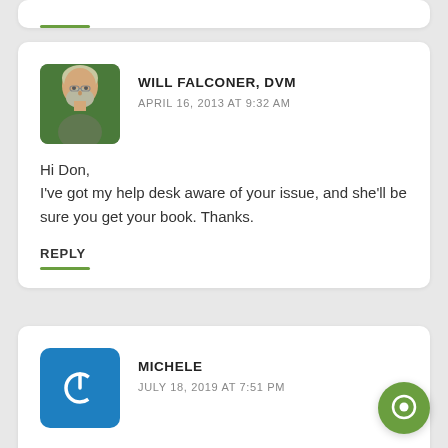WILL FALCONER, DVM
APRIL 16, 2013 AT 9:32 AM

Hi Don,
I've got my help desk aware of your issue, and she'll be sure you get your book. Thanks.
REPLY
MICHELE
JULY 18, 2019 AT 7:51 PM

my dog is in the er bloated stomach and